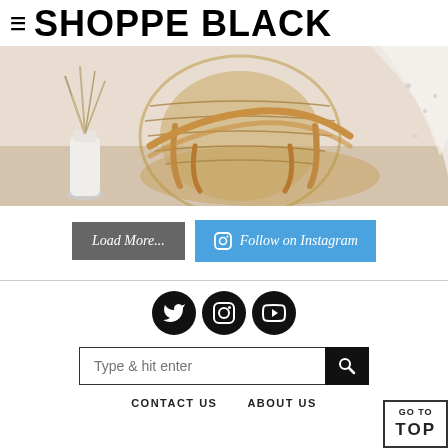≡ SHOPPE BLACK
[Figure (photo): Close-up of wicker/rattan chair and woven basket with dried grasses in a white vase, interior decor scene]
Load More...
Follow on Instagram
[Figure (infographic): Social media icons: Twitter, Instagram, YouTube — white icons on black circular backgrounds]
Type & hit enter
CONTACT US   ABOUT US
GO TO TOP